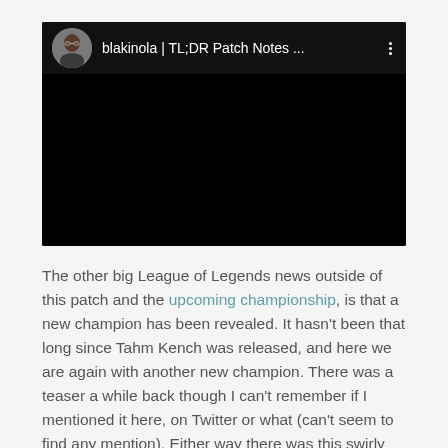[Figure (screenshot): A YouTube video embed with a black video frame. The video header shows a circular avatar photo of a man wearing glasses, channel name 'blakinola | TL;DR Patch Notes ...' in white text, and a vertical three-dot menu icon on the right. The video body is entirely black.]
The other big League of Legends news outside of this patch and the upcoming championship, is that a new champion has been revealed. It hasn't been that long since Tahm Kench was released, and here we are again with another new champion. There was a teaser a while back though I can't remember if I mentioned it here, on Twitter or what (can't seem to find any mention). Either way there was this swirly